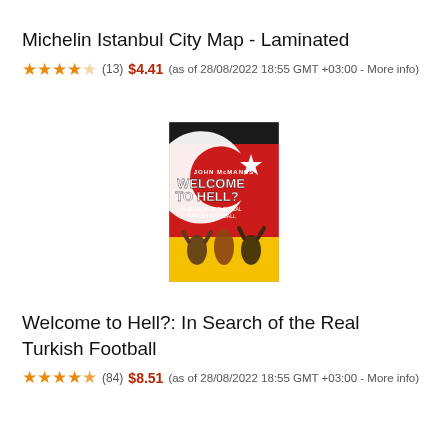Michelin Istanbul City Map - Laminated
★★★★☆ (13) $4.41 (as of 28/08/2022 18:55 GMT +03:00 - More info)
[Figure (photo): Book cover of 'Welcome to Hell?: In Search of the Real Turkish Football' by John McManus. Red background with crescent and star, dramatic figures, yellow at bottom.]
Welcome to Hell?: In Search of the Real Turkish Football
★★★★★ (84) $8.51 (as of 28/08/2022 18:55 GMT +03:00 - More info)